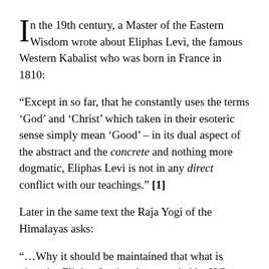In the 19th century, a Master of the Eastern Wisdom wrote about Eliphas Levi, the famous Western Kabalist who was born in France in 1810:
“Except in so far, that he constantly uses the terms ‘God’ and ‘Christ’ which taken in their esoteric sense simply mean ‘Good’ – in its dual aspect of the abstract and the concrete and nothing more dogmatic, Eliphas Levi is not in any direct conflict with our teachings.” [1]
Later in the same text the Raja Yogi of the Himalayas asks:
“…Why it should be maintained that what is given by Eliphas Levi and expounded by H.P. Blavatsky [2], is ‘in direct conflict’ with my teaching? E.L. is an Occultist, and a Kabalist, and writing for those who are supposed to